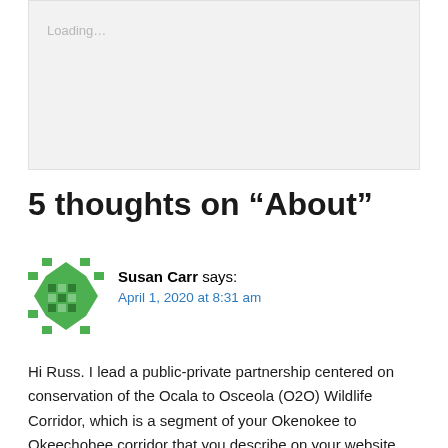[Figure (screenshot): A loading placeholder box with 'Loading…' text in gray]
5 thoughts on “About”
Susan Carr says:
April 1, 2020 at 8:31 am
Hi Russ. I lead a public-private partnership centered on conservation of the Ocala to Osceola (O2O) Wildlife Corridor, which is a segment of your Okenokee to Okeechobee corridor that you describe on your website. Do you have more information about the Oke-to Okee